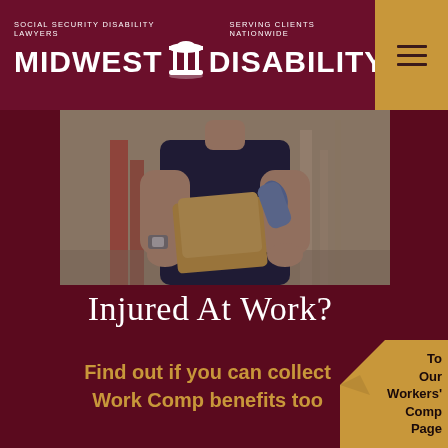SOCIAL SECURITY DISABILITY LAWYERS | MIDWEST DISABILITY® | SERVING CLIENTS NATIONWIDE
[Figure (photo): Construction worker in navy shirt holding rolled blueprints/documents at a construction site]
Injured At Work?
Find out if you can collect Work Comp benefits too
To Our Workers' Comp Page